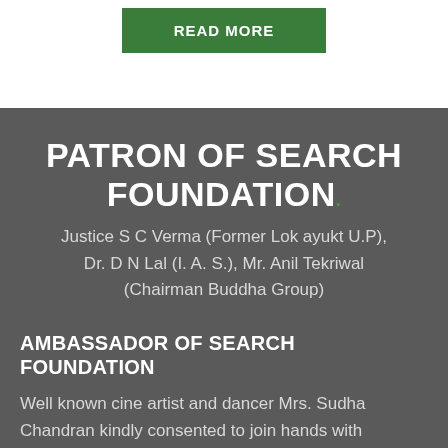[Figure (other): Green 'READ MORE' button on white background]
PATRON OF SEARCH FOUNDATION
Justice S C Verma (Former Lok ayukt U.P), Dr. D N Lal (I. A. S.), Mr. Anil Tekriwal (Chairman Buddha Group)
AMBASSADOR OF SEARCH FOUNDATION
Well known cine artist and dancer Mrs. Sudha Chandran kindly consented to join hands with